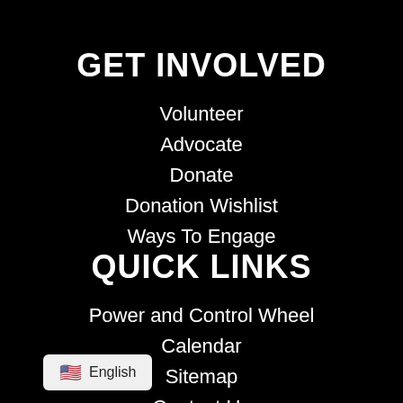GET INVOLVED
Volunteer
Advocate
Donate
Donation Wishlist
Ways To Engage
QUICK LINKS
Power and Control Wheel
Calendar
Sitemap
Contact Us
🇺🇸 English